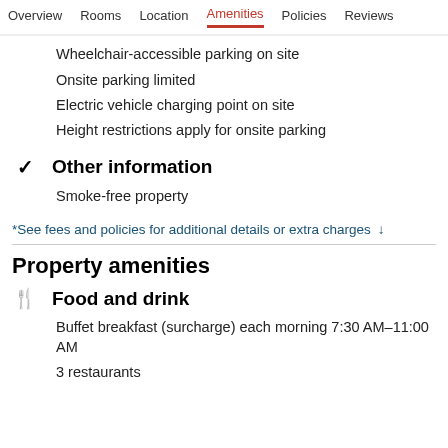Overview  Rooms  Location  Amenities  Policies  Reviews
Wheelchair-accessible parking on site
Onsite parking limited
Electric vehicle charging point on site
Height restrictions apply for onsite parking
✓  Other information
Smoke-free property
*See fees and policies for additional details or extra charges ↓
Property amenities
🍴  Food and drink
Buffet breakfast (surcharge) each morning 7:30 AM–11:00 AM
3 restaurants